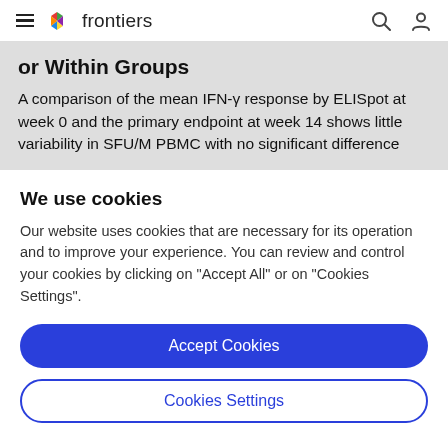frontiers
or Within Groups
A comparison of the mean IFN-γ response by ELISpot at week 0 and the primary endpoint at week 14 shows little variability in SFU/M PBMC with no significant difference
We use cookies
Our website uses cookies that are necessary for its operation and to improve your experience. You can review and control your cookies by clicking on "Accept All" or on "Cookies Settings".
Accept Cookies
Cookies Settings